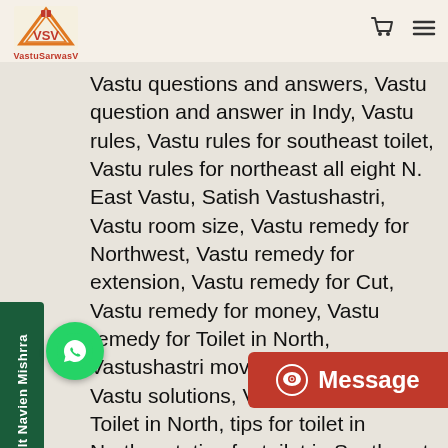[Figure (logo): VastuSarwasV logo with orange/red triangle and VSV letters]
Vastu questions and answers, Vastu question and answer in Indy, Vastu rules, Vastu rules for southeast toilet, Vastu rules for northeast all eight N. East Vastu, Satish Vastushastri, Vastu room size, Vastu remedy for Northwest, Vastu remedy for extension, Vastu remedy for Cut, Vastu remedy for money, Vastu remedy for Toilet in North, Vastushastri movie, Vastushastri, Vastu solutions, Vastu songs, tips for Toilet in North, tips for toilet in Northeast, tips for toilet in Southeast, Vastu did for Northeastern late, Basotiya for Toilet in North, Vastu buy and Hindi, Junction !, Vastu paid for money, Vastu pay for home basketball yard, Vasu video, best Vasu video, st Vastu tutor, Vastu does wallpaper, Vastu west facing, Vastu is fishing,
[Figure (other): Green vertical sidebar tab with text 'Consult Navien Mishrra']
[Figure (other): Green circular WhatsApp chat button]
[Figure (other): Red Message button with chat icon]